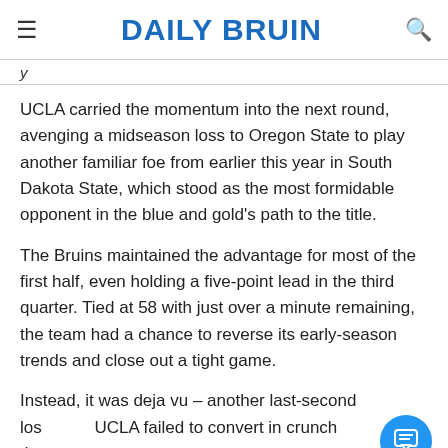DAILY BRUIN
UCLA carried the momentum into the next round, avenging a midseason loss to Oregon State to play another familiar foe from earlier this year in South Dakota State, which stood as the most formidable opponent in the blue and gold's path to the title.
The Bruins maintained the advantage for most of the first half, even holding a five-point lead in the third quarter. Tied at 58 with just over a minute remaining, the team had a chance to reverse its early-season trends and close out a tight game.
Instead, it was deja vu – another last-second loss UCLA failed to convert in crunch time.